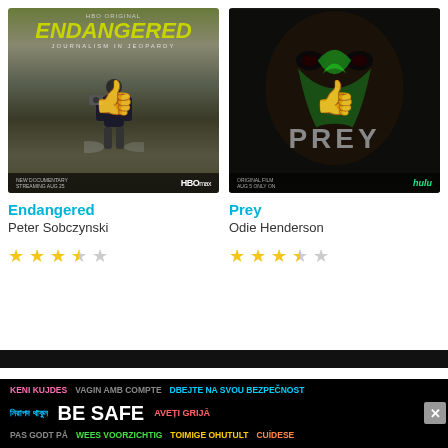[Figure (photo): Movie poster for 'Endangered' - HBO Original documentary showing a journalist with camera in smoky environment, with thumbs-up overlay icon]
Endangered
Peter Sobczynski
[Figure (illustration): Star rating: 3.5 out of 5 stars]
[Figure (photo): Movie poster for 'Prey' - Hulu original film showing a face with green paint/markings, with thumbs-up overlay icon]
Prey
Odie Henderson
[Figure (illustration): Star rating: 3.5 out of 5 stars]
[Figure (infographic): Be Safe multilingual public safety advertisement banner with close button. Contains: KENI KUJDES, VAGIN AMB COMPTE, DBEJTE NA SVOU BEZPECNOST, BE SAFE, AVETI GRIJA, PAS GODT PA, WEES VOORZICHTIG, TOIMIGE OHUTULT, CUIDESE]